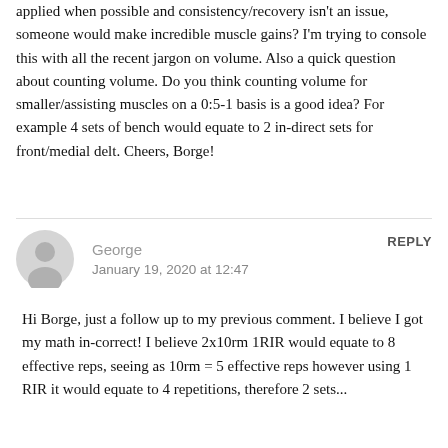applied when possible and consistency/recovery isn't an issue, someone would make incredible muscle gains? I'm trying to console this with all the recent jargon on volume. Also a quick question about counting volume. Do you think counting volume for smaller/assisting muscles on a 0:5-1 basis is a good idea? For example 4 sets of bench would equate to 2 in-direct sets for front/medial delt. Cheers, Borge!
George
January 19, 2020 at 12:47
REPLY
Hi Borge, just a follow up to my previous comment. I believe I got my math in-correct! I believe 2x10rm 1RIR would equate to 8 effective reps, seeing as 10rm = 5 effective reps however using 1 RIR it would equate to 4 repetitions, therefore 2 sets...